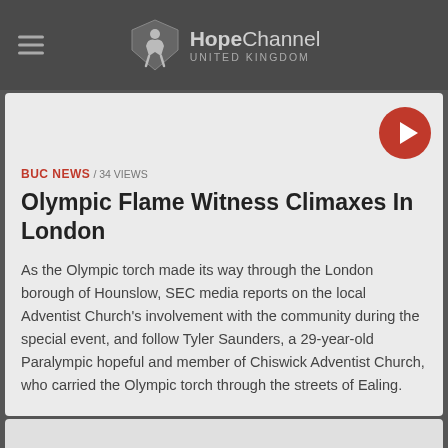HopeChannel UNITED KINGDOM
BUC NEWS / 34 VIEWS
Olympic Flame Witness Climaxes In London
As the Olympic torch made its way through the London borough of Hounslow, SEC media reports on the local Adventist Church's involvement with the community during the special event, and follow Tyler Saunders, a 29-year-old Paralympic hopeful and member of Chiswick Adventist Church, who carried the Olympic torch through the streets of Ealing.